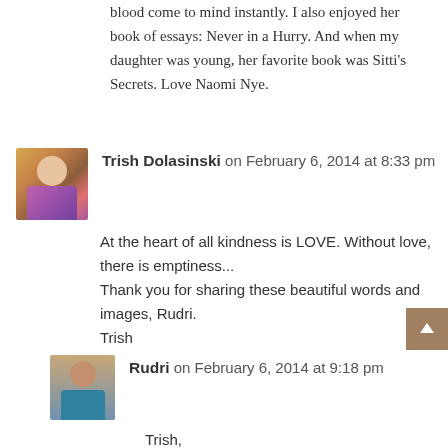blood come to mind instantly. I also enjoyed her book of essays: Never in a Hurry. And when my daughter was young, her favorite book was Sitti's Secrets. Love Naomi Nye.
Trish Dolasinski on February 6, 2014 at 8:33 pm
At the heart of all kindness is LOVE. Without love, there is emptiness...
Thank you for sharing these beautiful words and images, Rudri.
Trish
Rudri on February 6, 2014 at 9:18 pm
Trish,